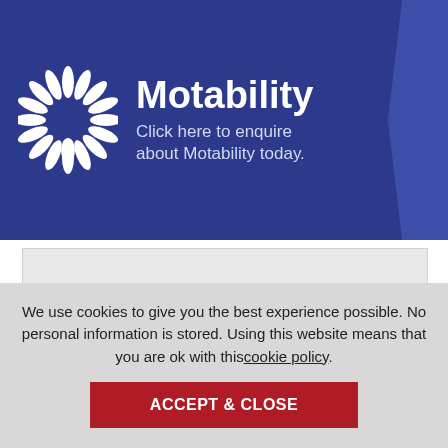[Figure (logo): Motability banner with white snowflake/starburst logo on blue background, text 'Motability' and 'Click here to enquire about Motability today.']
[Figure (other): Grey placeholder rectangle below the Motability banner]
We use cookies to give you the best experience possible. No personal information is stored. Using this website means that you are ok with thiscookie policy.
ACCEPT & CLOSE